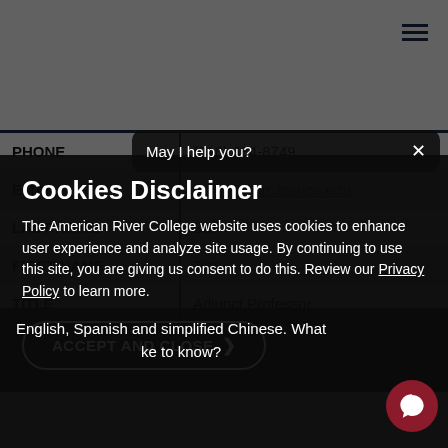| Field | Value |
| --- | --- |
| PHONE | (916) 484-8749 |
| EMAIL | BanhK@arc.losrios.edu |
| LAST NAME | Barr |
| FIRST NAME | Tom |
| TITLE | Adjunct Professor |
| DEPARTMENT |  |
| PHONE |  |
Cookies Disclaimer
The American River College website uses cookies to enhance user experience and analyze site usage. By continuing to use this site, you are giving us consent to do this. Review our Privacy Policy to learn more.
ACCEPT AND CLOSE